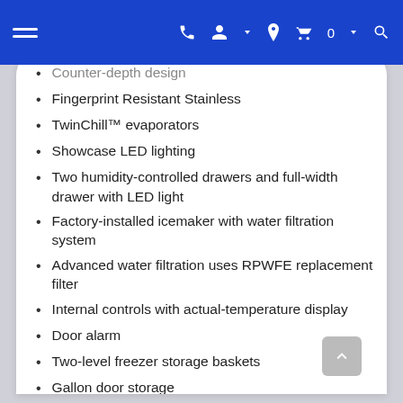Navigation bar with hamburger menu, phone, account, location, cart (0), and search icons
Counter-depth design
Fingerprint Resistant Stainless
TwinChill™ evaporators
Showcase LED lighting
Two humidity-controlled drawers and full-width drawer with LED light
Factory-installed icemaker with water filtration system
Advanced water filtration uses RPWFE replacement filter
Internal controls with actual-temperature display
Door alarm
Two-level freezer storage baskets
Gallon door storage
Spill-proof shelves
Enhanced Shabbos Mode